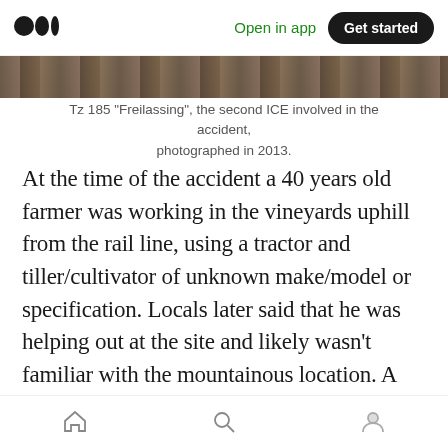Medium app header — Open in app | Get started
[Figure (photo): Partial cropped photo of a train (ICE) on rail tracks, showing dark rail and gravel, bottom portion visible]
Tz 185 “Freilassing”, the second ICE involved in the accident, photographed in 2013.
At the time of the accident a 40 years old farmer was working in the vineyards uphill from the rail line, using a tractor and tiller/cultivator of unknown make/model or specification. Locals later said that he was helping out at the site and likely wasn’t familiar with the mountainous location. A tiller, in simplified terms, works similar to a plow in breaking up the ground and helping against unwanted weeds
Home | Search | Profile navigation icons